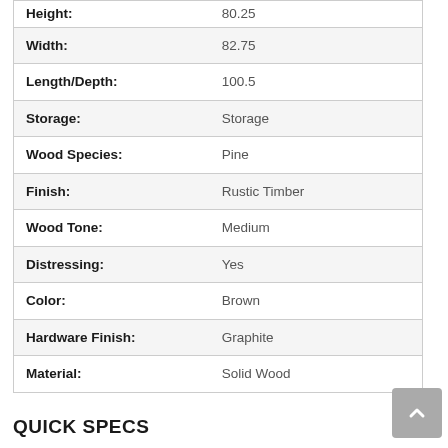| Attribute | Value |
| --- | --- |
| Height: | 80.25 |
| Width: | 82.75 |
| Length/Depth: | 100.5 |
| Storage: | Storage |
| Wood Species: | Pine |
| Finish: | Rustic Timber |
| Wood Tone: | Medium |
| Distressing: | Yes |
| Color: | Brown |
| Hardware Finish: | Graphite |
| Material: | Solid Wood |
QUICK SPECS